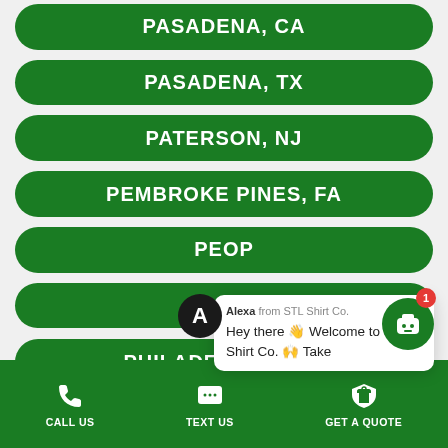PASADENA, CA
PASADENA, TX
PATERSON, NJ
PEMBROKE PINES, FA
PEOP…
PEO…
PHILADELPHIA, PA
Alexa from STL Shirt Co.
Hey there 👋 Welcome to STL Shirt Co. 🙌 Take
CALL US | TEXT US | GET A QUOTE